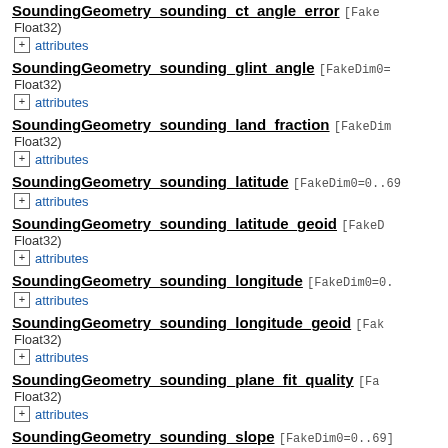SoundingGeometry_sounding_ct_angle_error [FakeDim... Float32)
+ attributes
SoundingGeometry_sounding_glint_angle [FakeDim0=... Float32)
+ attributes
SoundingGeometry_sounding_land_fraction [FakeDim... Float32)
+ attributes
SoundingGeometry_sounding_latitude [FakeDim0=0..69
+ attributes
SoundingGeometry_sounding_latitude_geoid [FakeD... Float32)
+ attributes
SoundingGeometry_sounding_longitude [FakeDim0=0..
+ attributes
SoundingGeometry_sounding_longitude_geoid [Fak... Float32)
+ attributes
SoundingGeometry_sounding_plane_fit_quality [Fa... Float32)
+ attributes
SoundingGeometry_sounding_slope [FakeDim0=0..69]
+ attributes
SoundingGeometry_sounding_solar_azimuth [FakeD...